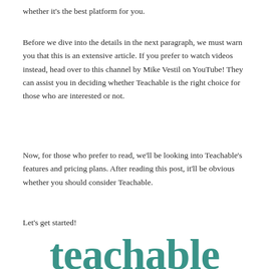whether it's the best platform for you.
Before we dive into the details in the next paragraph, we must warn you that this is an extensive article. If you prefer to watch videos instead, head over to this channel by Mike Vestil on YouTube! They can assist you in deciding whether Teachable is the right choice for those who are interested or not.
Now, for those who prefer to read, we'll be looking into Teachable's features and pricing plans. After reading this post, it'll be obvious whether you should consider Teachable.
Let's get started!
[Figure (logo): Teachable logo in large teal/green serif bold lowercase text]